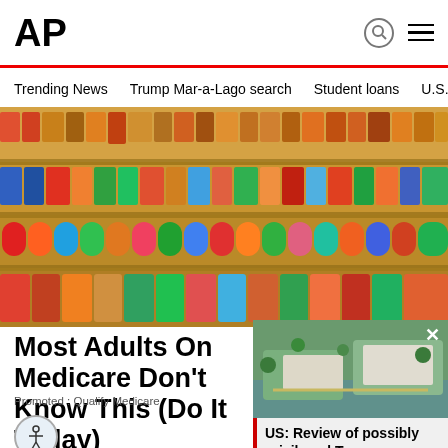AP
Trending News  Trump Mar-a-Lago search  Student loans  U.S.
[Figure (photo): Overhead view of a supermarket aisle showing shelves packed with colorful canned goods and packaged products]
Most Adults On Medicare Don't Know This (Do It Today)
Promoted : Qualify Medicare
[Figure (photo): Aerial photo of Trump's Mar-a-Lago estate in Florida]
US: Review of possibly privileged Trump papers alre...